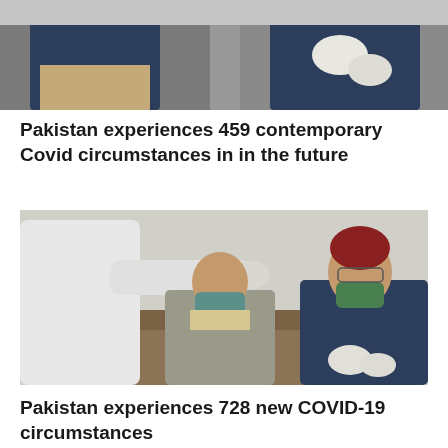[Figure (photo): Medical workers in blue attire, one wearing white gloves, appearing to conduct a medical examination or testing procedure on a patient.]
Pakistan experiences 459 contemporary Covid circumstances in in the future
[Figure (photo): Healthcare worker in white PPE suit performing a nasal swab COVID-19 test on a seated man in a grey suit wearing a teal face mask, while another man in blue clothing with a green mask sits nearby.]
Pakistan experiences 728 new COVID-19 circumstances